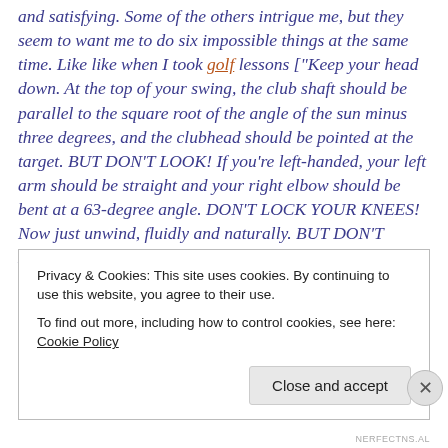and satisfying. Some of the others intrigue me, but they seem to want me to do six impossible things at the same time. Like like when I took golf lessons ["Keep your head down. At the top of your swing, the club shaft should be parallel to the square root of the angle of the sun minus three degrees, and the clubhead should be pointed at the target. BUT DON'T LOOK! If you're left-handed, your left arm should be straight and your right elbow should be bent at a 63-degree angle. DON'T LOCK YOUR KNEES! Now just unwind, fluidly and naturally. BUT DON'T MOVE YOUR HEAD!"].
Privacy & Cookies: This site uses cookies. By continuing to use this website, you agree to their use.
To find out more, including how to control cookies, see here: Cookie Policy
Close and accept
NERFECTNS.AL